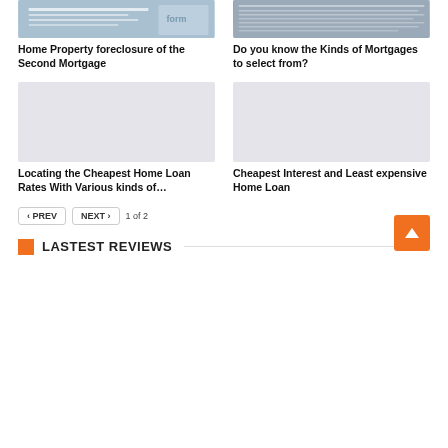[Figure (photo): Photo of a mortgage/loan form document, partially cropped at top]
[Figure (photo): Photo of a newspaper or document with dense text, cropped at top]
Home Property foreclosure of the Second Mortgage
Do you know the Kinds of Mortgages to select from?
[Figure (photo): Light gray placeholder image for Cheapest Home Loan Rates article]
[Figure (photo): Light gray placeholder image for Cheapest Interest and Least expensive Home Loan article]
Locating the Cheapest Home Loan Rates With Various kinds of…
Cheapest Interest and Least expensive Home Loan
< PREV   NEXT >   1 of 2
LASTEST REVIEWS